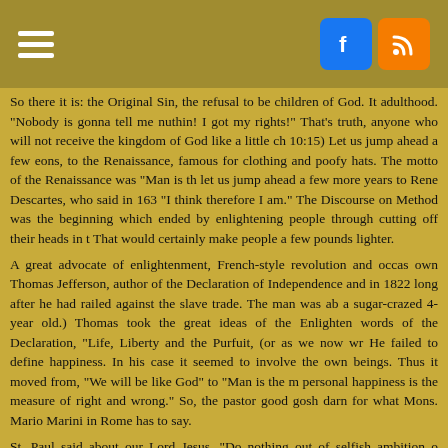Menu | Facebook | RSS
So there it is: the Original Sin, the refusal to be children of God. It adulthood. "Nobody is gonna tell me nuthin! I got my rights!" That's truth, anyone who will not receive the kingdom of God like a little ch 10:15) Let us jump ahead a few eons, to the Renaissance, famous for clothing and poofy hats. The motto of the Renaissance was "Man is th let us jump ahead a few more years to Rene Descartes, who said in 163 "I think therefore I am." The Discourse on Method was the beginning which ended by enlightening people through cutting off their heads in t That would certainly make people a few pounds lighter.
A great advocate of enlightenment, French-style revolution and occas own Thomas Jefferson, author of the Declaration of Independence and in 1822 long after he had railed against the slave trade. The man was ab a sugar-crazed 4-year old.) Thomas took the great ideas of the Enlighten words of the Declaration, "Life, Liberty and the Purfuit, (or as we now wr He failed to define happiness. In his case it seemed to involve the own beings. Thus it moved from, "We will be like God" to "Man is the m personal happiness is the measure of right and wrong." So, the pastor good gosh darn for what Mons. Mario Marini in Rome has to say.
St. Paul said about our Lord Jesus. "Do nothing out of selfish ambition o consider others better than yourselves. Each of you should look not on about the interests of others. Your attitude should be the same as that o